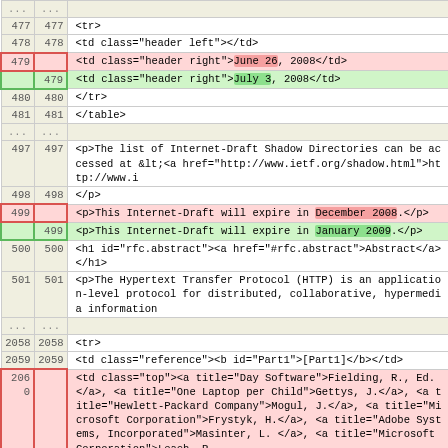| old | new | code |
| --- | --- | --- |
| ... | ... |  |
| 477 | 477 |         <tr> |
| 478 | 478 |             <td class="header left"></td> |
| 479 |  |             <td class="header right">June 26, 2008</td> |
|  | 479 |             <td class="header right">July 3, 2008</td> |
| 480 | 480 |         </tr> |
| 481 | 481 |         </table> |
| ... | ... |  |
| 497 | 497 |         <p>The list of Internet-Draft Shadow Directories can be accessed at &lt;<a href="http://www.ietf.org/shadow.html">http://www.i</a> |
| 498 | 498 |         </p> |
| 499 |  |             <p>This Internet-Draft will expire in December 2008.</p> |
|  | 499 |             <p>This Internet-Draft will expire in January 2009.</p> |
| 500 | 500 |         <h1 id="rfc.abstract"><a href="#rfc.abstract">Abstract</a></h1> |
| 501 | 501 |         <p>The Hypertext Transfer Protocol (HTTP) is an application-level protocol for distributed, collaborative, hypermedia information |
| ... | ... |  |
| 2058 | 2058 |         <tr> |
| 2059 | 2059 |             <td class="reference"><b id="Part1">[Part1]</b></td> |
| 2060 |  |                 <td class="top"><a title="Day Software">Fielding, R., Ed.</a>, <a title="One Laptop per Child">Gettys, J.</a>, <a title="Hewlett-Packard Company">Mogul, J.</a>, <a title="Microsoft Corporation">Frystyk, H.</a>, <a title="Adobe Systems, Incorporated">Masinter, L.</a>, <a title="Microsoft Corporation">Leach, P. |